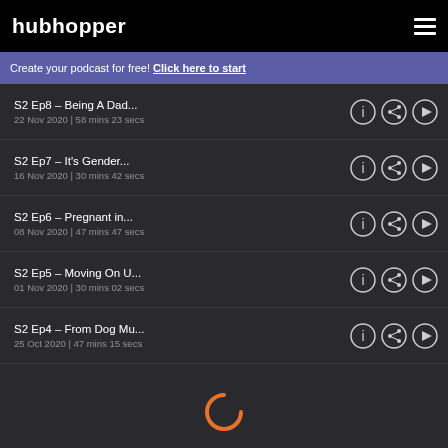hubhopper
Create your podcast for free! Click here to start
S2 Ep8 - Being A Dad...
22 Nov 2020 | 58 mins 23 secs
S2 Ep7 - It's Gender...
16 Nov 2020 | 30 mins 42 secs
S2 Ep6 - Pregnant in...
08 Nov 2020 | 47 mins 47 secs
S2 Ep5 - Moving On U...
01 Nov 2020 | 30 mins 02 secs
S2 Ep4 - From Dog Mu...
25 Oct 2020 | 47 mins 15 secs
[Figure (other): Loading spinner (orange partial circle arc)]